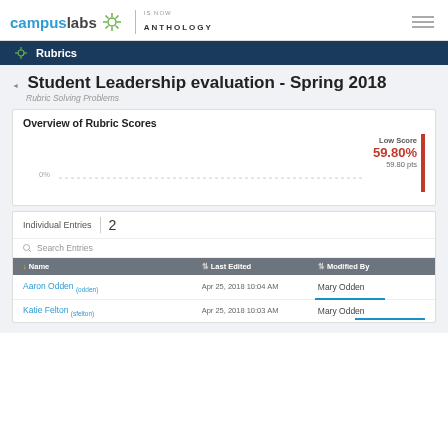[Figure (logo): CampusLabs is now Anthology logo with hamburger menu]
Rubrics
Student Leadership evaluation - Spring 2018
Rubric Solving Problems
Overview of Rubric Scores
[Figure (continuous-plot): Score chart with 0% baseline and Low Score marker at 59.80% (59.80 pts)]
Individual Entries | 2
Search Entries
| Name | Last Edited | Modified By |
| --- | --- | --- |
| Aaron Odden (odden) | Apr 25, 2018 10:04 AM | Mary Odden |
| Katie Felton (sfelton) | Apr 25, 2018 10:03 AM | Mary Odden |